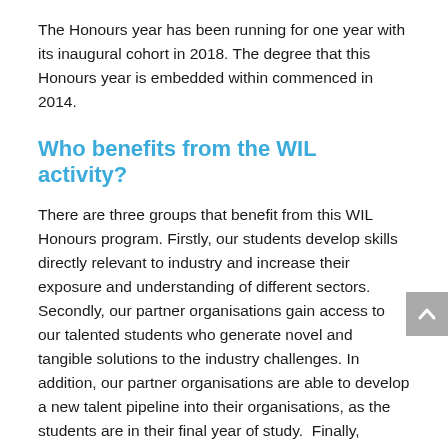The Honours year has been running for one year with its inaugural cohort in 2018. The degree that this Honours year is embedded within commenced in 2014.
Who benefits from the WIL activity?
There are three groups that benefit from this WIL Honours program. Firstly, our students develop skills directly relevant to industry and increase their exposure and understanding of different sectors. Secondly, our partner organisations gain access to our talented students who generate novel and tangible solutions to the industry challenges. In addition, our partner organisations are able to develop a new talent pipeline into their organisations, as the students are in their final year of study. Finally, through this program the Faculty of Science is able to create new industry linkages to a diverse range of industry partners.